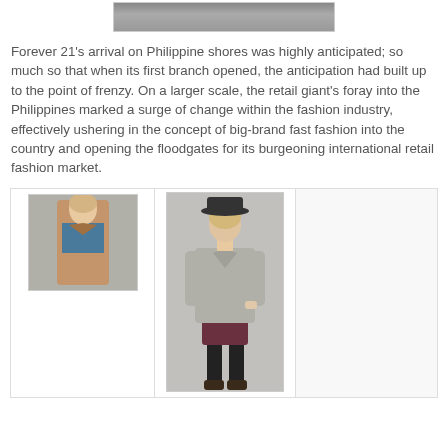[Figure (photo): Top portion of a fashion/street photo, partially visible at top of page]
Forever 21's arrival on Philippine shores was highly anticipated; so much so that when its first branch opened, the anticipation had built up to the point of frenzy. On a larger scale, the retail giant's foray into the Philippines marked a surge of change within the fashion industry, effectively ushering in the concept of big-brand fast fashion into the country and opening the floodgates for its burgeoning international retail fashion market.
[Figure (photo): Fashion photo collage with three panels: left panel shows a woman in a camel coat over a blue top; center panel shows a woman in a gray coat, hat, maroon shorts and knee-high socks; right panel is mostly empty/white]